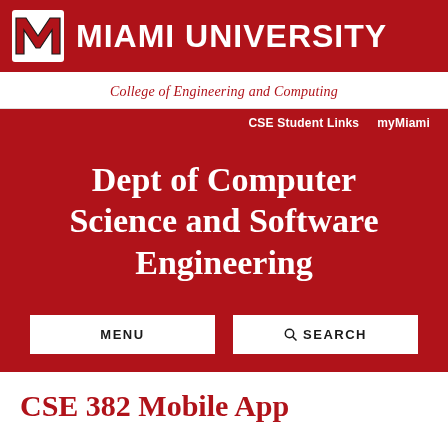MIAMI UNIVERSITY
College of Engineering and Computing
CSE Student Links   myMiami
Dept of Computer Science and Software Engineering
MENU
SEARCH
CSE 382 Mobile App